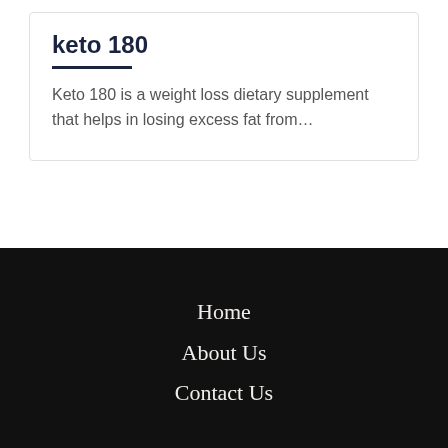keto 180
Keto 180 is a weight loss dietary supplement that helps in losing excess fat from…
Home
About Us
Contact Us